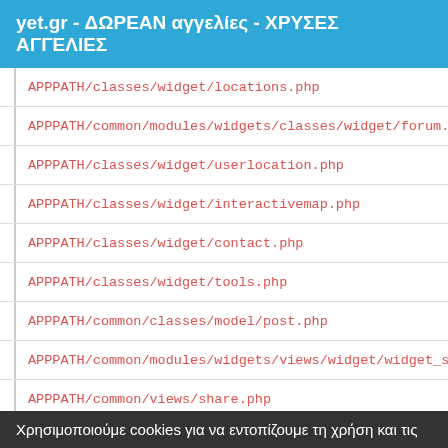yet.gr - ΔΩΡΕΑΝ αγγελίες - ΧΡΥΣΕΣ ΑΓΓΕΛΙΕΣ
APPPATH/classes/widget/locations.php
APPPATH/common/modules/widgets/classes/widget/forum.ph
APPPATH/classes/widget/userlocation.php
APPPATH/classes/widget/interactivemap.php
APPPATH/classes/widget/contact.php
APPPATH/classes/widget/tools.php
APPPATH/common/classes/model/post.php
APPPATH/common/modules/widgets/views/widget/widget_sha
APPPATH/common/views/share.php
APPPATH/common/modules/widgets/views/widget/widget_tex
APPPATH/common/modules/widgets/views/widget/widget_lin
Χρησιμοποιούμε cookies για να εντοπίζουμε τη χρήση και τις